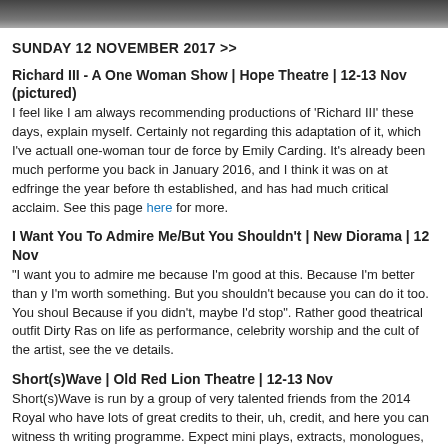[Figure (photo): Top cropped photo, dark/grayscale image of a person]
SUNDAY 12 NOVEMBER 2017 >>
Richard III - A One Woman Show | Hope Theatre | 12-13 Nov (pictured)
I feel like I am always recommending productions of 'Richard III' these days, explain myself. Certainly not regarding this adaptation of it, which I've actually one-woman tour de force by Emily Carding. It's already been much performe you back in January 2016, and I think it was on at edfringe the year before th established, and has had much critical acclaim. See this page here for more.
I Want You To Admire Me/But You Shouldn't | New Diorama | 12 Nov
"I want you to admire me because I'm good at this. Because I'm better than y I'm worth something. But you shouldn't because you can do it too. You shoul Because if you didn't, maybe I'd stop". Rather good theatrical outfit Dirty Ras on life as performance, celebrity worship and the cult of the artist, see the ve details.
Short(s)Wave | Old Red Lion Theatre | 12-13 Nov
Short(s)Wave is run by a group of very talented friends from the 2014 Royal who have lots of great credits to their, uh, credit, and here you can witness th writing programme. Expect mini plays, extracts, monologues, things that mig length plays - all of no doubt super quality. Click here for more.
[Figure (infographic): Dark banner with large white text: MONDAY IN LONDON]
[Figure (photo): Bottom cropped dark/grayscale photo]